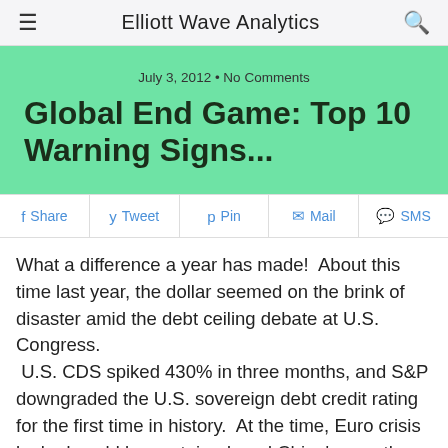Elliott Wave Analytics
Global End Game: Top 10 Warning Signs...
July 3, 2012 • No Comments
Share  Tweet  Pin  Mail  SMS
What a difference a year has made!  About this time last year, the dollar seemed on the brink of disaster amid the debt ceiling debate at U.S. Congress.  U.S. CDS spiked 430% in three months, and S&P downgraded the U.S. sovereign debt credit rating for the first time in history.  At the time, Euro crisis looked could be contained, and China's growth story was